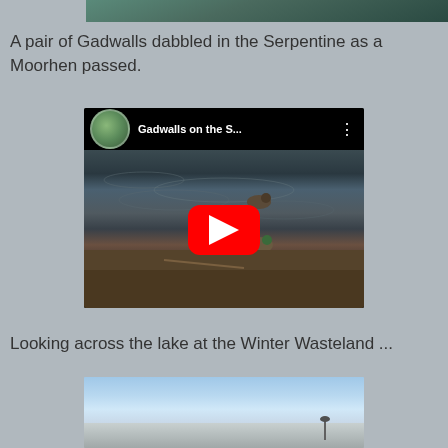[Figure (photo): Partial top view of waterfowl or nature scene, cropped at top of page]
A pair of Gadwalls dabbled in the Serpentine as a Moorhen passed.
[Figure (screenshot): YouTube video thumbnail showing 'Gadwalls on the S...' with ducks near water, red play button in center]
Looking across the lake at the Winter Wasteland ...
[Figure (photo): Partial bottom view of lake scene with sky and distant pole/structure, cropped at bottom of page]